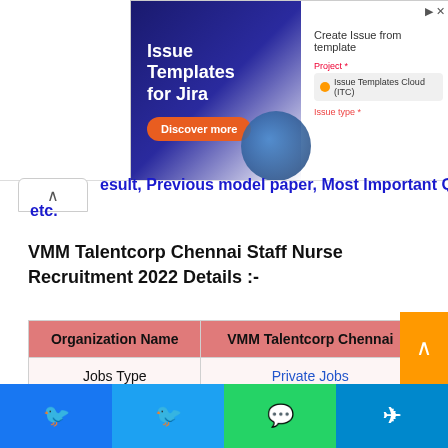[Figure (screenshot): Advertisement banner for Issue Templates for Jira with Discover more button and interface screenshot]
...esult, Previous model paper, Most Important Questions etc.
VMM Talentcorp Chennai Staff Nurse Recruitment 2022 Details :-
| Organization Name | VMM Talentcorp Chennai |
| --- | --- |
| Jobs Type | Private Jobs |
| Post Name | Staff Nurse |
| No of The Posts | Various |
[Figure (screenshot): Social share buttons: Facebook, Twitter, WhatsApp, Telegram]